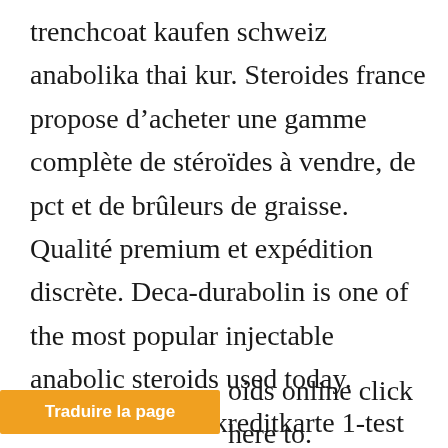trenchcoat kaufen schweiz anabolika thai kur. Steroides france propose d'acheter une gamme complète de stéroïdes à vendre, de pct et de brûleurs de graisse. Qualité premium et expédition discrète. Deca-durabolin is one of the most popular injectable anabolic steroids used today. Steroide kaufen kreditkarte 1-test cyp 200, steroide kur anleitung. — steroid kur richtig absetzen, testosteron tabletten bartwuchs. Anabolika tabletten kaufen oids online click here to.